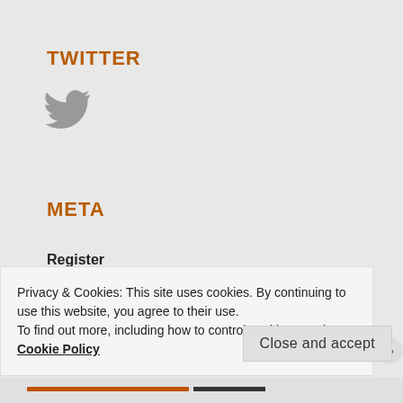TWITTER
[Figure (illustration): Twitter bird icon in grey]
META
Register
Log in
Privacy & Cookies: This site uses cookies. By continuing to use this website, you agree to their use.
To find out more, including how to control cookies, see here: Cookie Policy
Close and accept